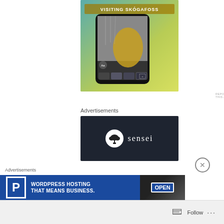[Figure (photo): Screenshot of a mobile app showing a person in a yellow jacket in front of a waterfall (Skógafoss), with the text 'VISITING SKÓGAFOSS' at the top and filter thumbnails at the bottom]
REPORT THIS AD
Advertisements
[Figure (logo): Sensei logo: a white circle with a bonsai tree icon on a dark navy background, followed by the text 'sensei' in white serif font]
Advertisements
[Figure (photo): WordPress hosting advertisement banner with large P logo, text 'WORDPRESS HOSTING THAT MEANS BUSINESS.' and a photo of an open sign]
Follow